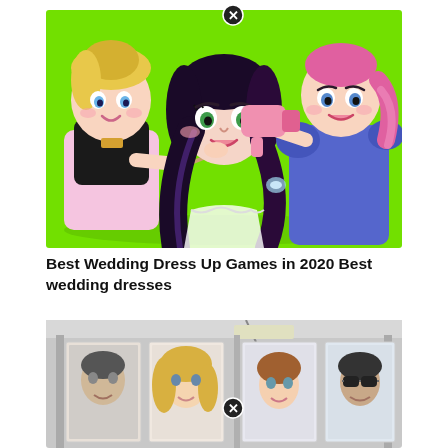[Figure (illustration): Cartoon illustration of three anime-style girls on a bright green background. Center girl with dark hair is having makeup applied by a girl in a black top on the left, and her hair styled with a pink hair dryer by a girl in a blue dress on the right. A close button (X in circle) appears at top center.]
Best Wedding Dress Up Games in 2020 Best wedding dresses
[Figure (photo): Photo of a hair salon or photography studio interior with light gray walls. Multiple backlit portrait frames/photos showing faces of people (man, woman with blonde hair, woman, man with sunglasses) are displayed on the wall. A close button (X in circle) appears at bottom center.]